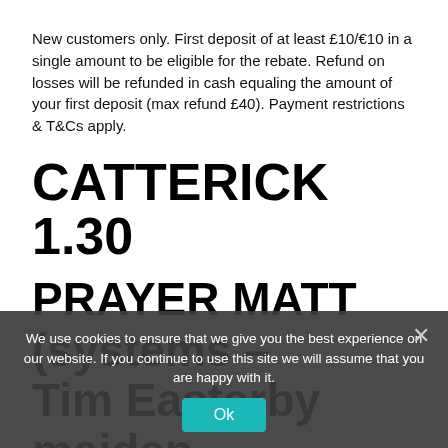New customers only. First deposit of at least £10/€10 in a single amount to be eligible for the rebate. Refund on losses will be refunded in cash equaling the amount of your first deposit (max refund £40). Payment restrictions & T&Cs apply.
CATTERICK 1.30
PRAYER MATT (systems – Tim Easterby maiden handicaps & Tim Easterby with first-time tongue-tie)
Tim Easterby has a useful record in maiden handicaps with first-time tongue-tie
We use cookies to ensure that we give you the best experience on our website. If you continue to use this site we will assume that you are happy with it.